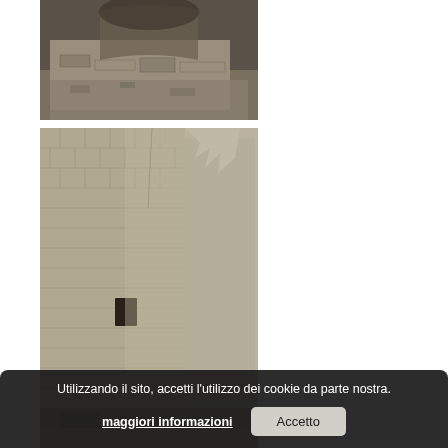[Figure (photo): Stone ruins with an arch, rubble and rock face visible in background. Partial top of page photo.]
[Figure (photo): Castle or fortification stone tower ruins against a blue sky. Large stone masonry blocks and a narrow window opening visible.]
[Figure (photo): Partially visible ruin photograph at the bottom of the page, cut off by the cookie banner.]
Utilizzando il sito, accetti l'utilizzo dei cookie da parte nostra. maggiori informazioni Accetto